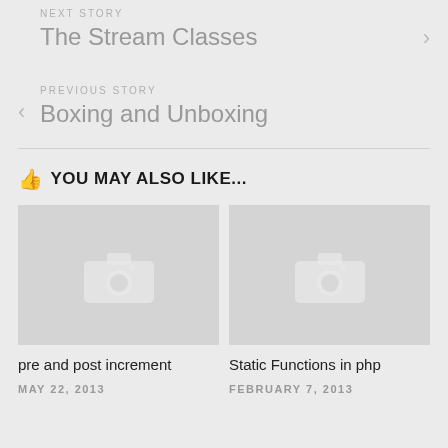NEXT STORY
The Stream Classes
PREVIOUS STORY
Boxing and Unboxing
👆 YOU MAY ALSO LIKE...
[Figure (photo): Placeholder image with camera icon for 'pre and post increment' article]
pre and post increment
MAY 22, 2013
[Figure (photo): Placeholder image with camera icon for 'Static Functions in php' article]
Static Functions in php
FEBRUARY 7, 2013